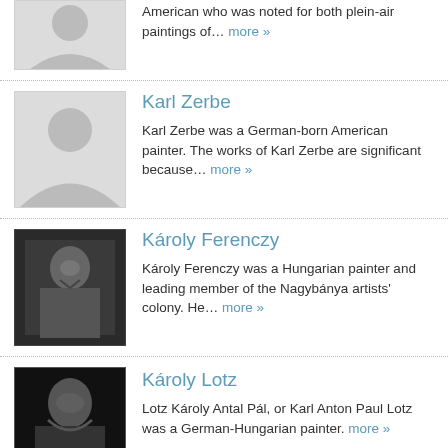American who was noted for both plein-air paintings of… more »
Karl Zerbe
Karl Zerbe was a German-born American painter. The works of Karl Zerbe are significant because… more »
Károly Ferenczy
Károly Ferenczy was a Hungarian painter and leading member of the Nagybánya artists' colony. He… more »
Károly Lotz
Lotz Károly Antal Pál, or Karl Anton Paul Lotz was a German-Hungarian painter. more »